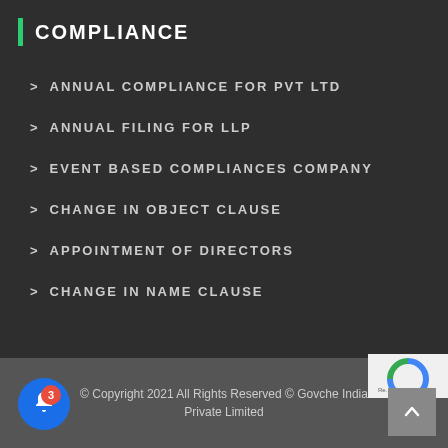COMPLIANCE
ANNUAL COMPLIANCE FOR PVT LTD
ANNUAL FILING FOR LLP
EVENT BASED COMPLIANCES COMPANY
CHANGE IN OBJECT CLAUSE
APPOINTMENT OF DIRECTORS
CHANGE IN NAME CLAUSE
© Copyright 2021 All Rights Reserved © Govche India Private Limited